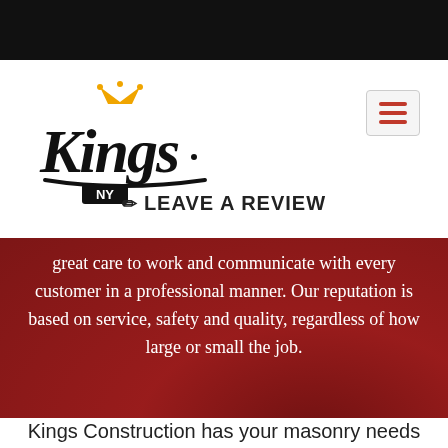[Figure (logo): Kings NY construction company logo in cursive script with crown icon and NY label]
✏ LEAVE A REVIEW
great care to work and communicate with every customer in a professional manner. Our reputation is based on service, safety and quality, regardless of how large or small the job.
MORE ABOUT KINGS CONSTRUCTION
Kings Construction has your masonry needs covered